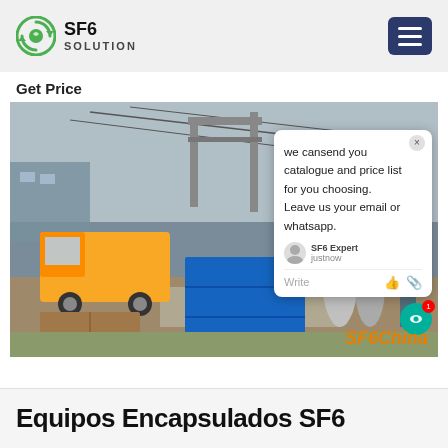[Figure (logo): SF6 Solution logo with green circular arrow icon and text SF6 SOLUTION]
Get Price
[Figure (photo): Industrial electrical substation scene with yellow truck and blue containers, SF6 equipment visible in background. Chat popup overlay reads: we cansend you catalogue and price list for you choosing. Leave us your email or whatsapp. SF6 Expert justnow. Write. SF6China watermark in orange.]
Equipos Encapsulados SF6